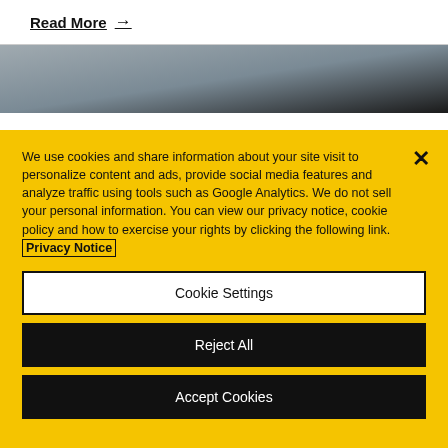Read More →
[Figure (photo): A partial image strip showing a dark smoky or cloudy scene with a dark angular shape at upper right]
We use cookies and share information about your site visit to personalize content and ads, provide social media features and analyze traffic using tools such as Google Analytics. We do not sell your personal information. You can view our privacy notice, cookie policy and how to exercise your rights by clicking the following link. Privacy Notice
Cookie Settings
Reject All
Accept Cookies